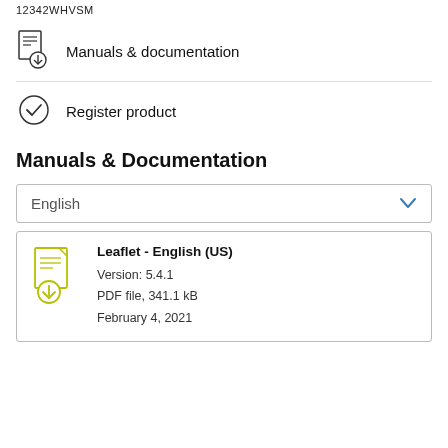12342WHVSM
Manuals & documentation
Register product
Manuals & Documentation
English
Leaflet - English (US)
Version: 5.4.1
PDF file, 341.1 kB
February 4, 2021